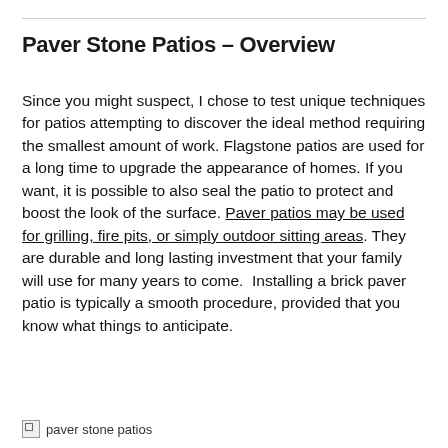Paver Stone Patios – Overview
Since you might suspect, I chose to test unique techniques for patios attempting to discover the ideal method requiring the smallest amount of work. Flagstone patios are used for a long time to upgrade the appearance of homes. If you want, it is possible to also seal the patio to protect and boost the look of the surface. Paver patios may be used for grilling, fire pits, or simply outdoor sitting areas. They are durable and long lasting investment that your family will use for many years to come.  Installing a brick paver patio is typically a smooth procedure, provided that you know what things to anticipate.
[Figure (photo): Broken image placeholder with alt text 'paver stone patios']